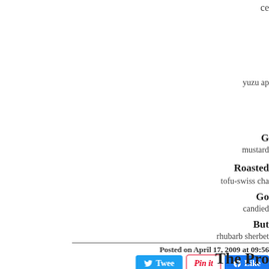ce
yuzu ap
G
mustard
Roasted
tofu-swiss cha
Go
candied
But
rhubarb sherbet
Posted on April 17, 2009 at 09:56
[Figure (other): Social share buttons: Tweet, Pin it, Like]
The Pro